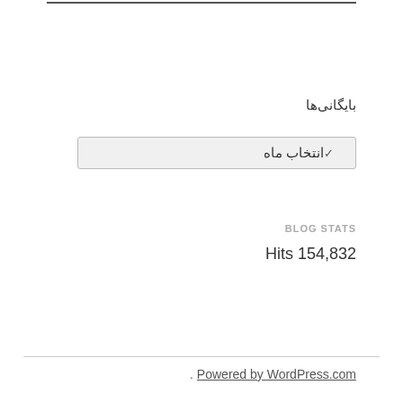بایگانی‌ها
[Figure (screenshot): Dropdown selector with label 'انتخاب ماه' and a chevron arrow on the left side]
BLOG STATS
Hits 154,832
Powered by WordPress.com .